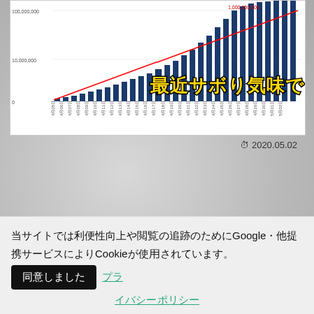[Figure (screenshot): Bar chart screenshot showing data over time from April with Japanese date labels on x-axis. Y-axis shows values up to 100,000,000. A red trend line is visible. Overlay text reads '最近サボり気味で…' in yellow with dark outline. A label '1,000,000,000' appears on the right side.]
⏱ 2020.05.02
当サイトでは利便性向上や閲覧の追跡のためにGoogle・他提携サービスによりCookieが使用されています。
同意しました
プライバシーポリシー